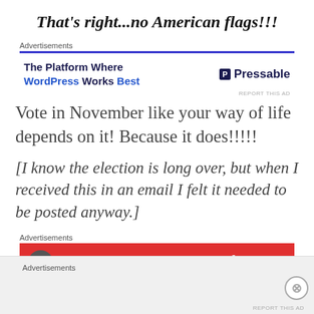That's right...no American flags!!!
[Figure (screenshot): Advertisement banner for Pressable: 'The Platform Where WordPress Works Best' with Pressable logo on right]
Vote in November like your way of life depends on it! Because it does!!!!!
[I know the election is long over, but when I received this in an email I felt it needed to be posted anyway.]
[Figure (screenshot): Second advertisement: red banner with 'An app by' text visible]
[Figure (screenshot): Bottom bar advertisement section with 'Advertisements' label and close button]